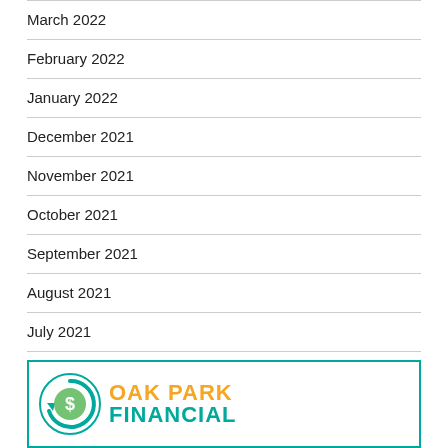March 2022
February 2022
January 2022
December 2021
November 2021
October 2021
September 2021
August 2021
July 2021
June 2021
[Figure (logo): Oak Park Financial logo with teal circular arrow icon and dollar sign, company name in yellow and teal]